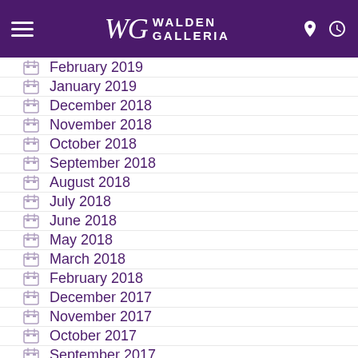Walden Galleria
February 2019
January 2019
December 2018
November 2018
October 2018
September 2018
August 2018
July 2018
June 2018
May 2018
March 2018
February 2018
December 2017
November 2017
October 2017
September 2017
August 2017
July 2017